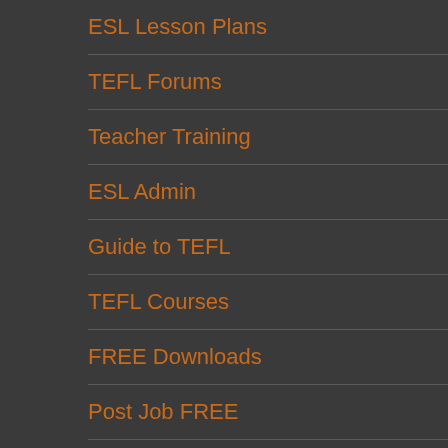ESL Lesson Plans
TEFL Forums
Teacher Training
ESL Admin
Guide to TEFL
TEFL Courses
FREE Downloads
Post Job FREE